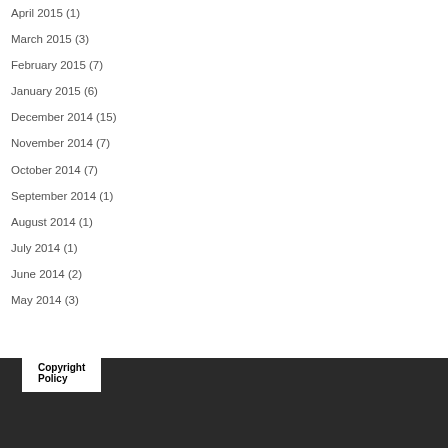April 2015 (1)
March 2015 (3)
February 2015 (7)
January 2015 (6)
December 2014 (15)
November 2014 (7)
October 2014 (7)
September 2014 (1)
August 2014 (1)
July 2014 (1)
June 2014 (2)
May 2014 (3)
Copyright Policy